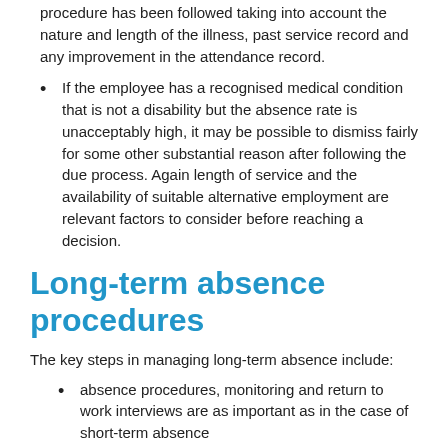procedure has been followed taking into account the nature and length of the illness, past service record and any improvement in the attendance record.
If the employee has a recognised medical condition that is not a disability but the absence rate is unacceptably high, it may be possible to dismiss fairly for some other substantial reason after following the due process. Again length of service and the availability of suitable alternative employment are relevant factors to consider before reaching a decision.
Long-term absence procedures
The key steps in managing long-term absence include:
absence procedures, monitoring and return to work interviews are as important as in the case of short-term absence